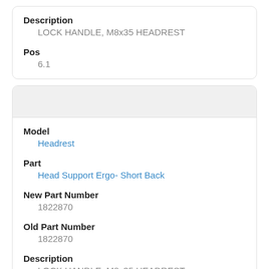Description
LOCK HANDLE, M8x35 HEADREST
Pos
6.1
Model
Headrest
Part
Head Support Ergo- Short Back
New Part Number
1822870
Old Part Number
1822870
Description
LOCK HANDLE, M8x35 HEADREST